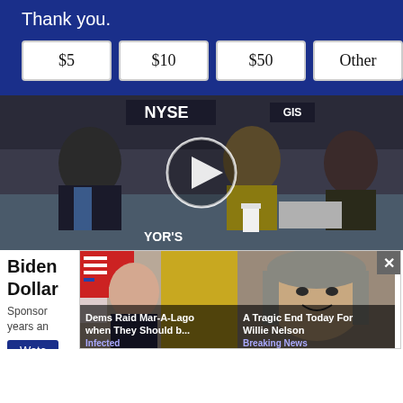Thank you.
$5
$10
$50
Other
[Figure (screenshot): Video thumbnail of a TV interview at the NYSE trading floor. A man in a suit sits at a desk with two women. A large white circular play button overlay is in the center. NYSE signage visible in background.]
Biden [Dollar] — US
Sponsored text every 40 years an... st...
[Figure (screenshot): Ad popup overlay with two ad cards side by side. Left card: 'Dems Raid Mar-A-Lago when They Should b...' tagged 'Infected'. Right card: 'A Tragic End Today For Willie Nelson' tagged 'Breaking News'. Close (X) button in top right.]